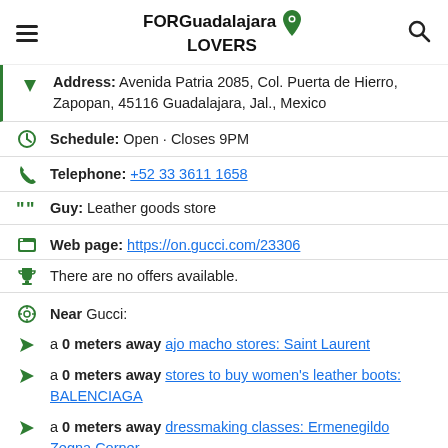FORGuadalajara LOVERS
Address: Avenida Patria 2085, Col. Puerta de Hierro, Zapopan, 45116 Guadalajara, Jal., Mexico
Schedule: Open · Closes 9PM
Telephone: +52 33 3611 1658
Guy: Leather goods store
Web page: https://on.gucci.com/23306
There are no offers available.
Near Gucci:
a 0 meters away ajo macho stores: Saint Laurent
a 0 meters away stores to buy women's leather boots: BALENCIAGA
a 0 meters away dressmaking classes: Ermenegildo Zegna Corner